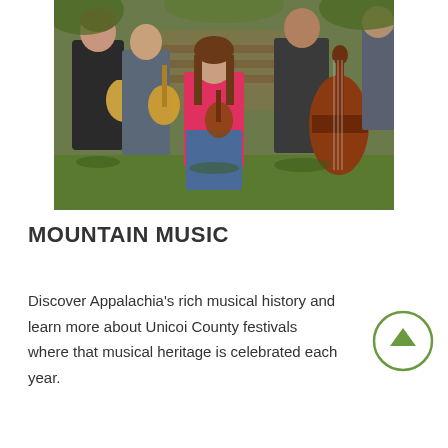[Figure (photo): Group of people playing bluegrass/country instruments outdoors on grass. A girl in pink plays a mandolin in the center, a large upright bass on the right, and two musicians with guitars on the left, against a wooden fence background.]
MOUNTAIN MUSIC
Discover Appalachia's rich musical history and learn more about Unicoi County festivals where that musical heritage is celebrated each year.